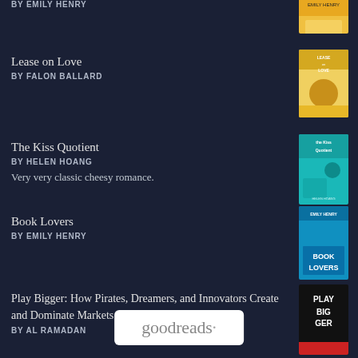BY EMILY HENRY
[Figure (illustration): Book cover - top right, partially visible]
Lease on Love
BY FALON BALLARD
[Figure (illustration): Book cover - Lease on Love by Falon Ballard]
The Kiss Quotient
BY HELEN HOANG
Very very classic cheesy romance.
[Figure (illustration): Book cover - The Kiss Quotient by Helen Hoang]
Book Lovers
BY EMILY HENRY
[Figure (illustration): Book cover - Book Lovers by Emily Henry]
Play Bigger: How Pirates, Dreamers, and Innovators Create and Dominate Markets
BY AL RAMADAN
[Figure (illustration): Book cover - Play Bigger]
[Figure (logo): Goodreads logo in white rounded rectangle]